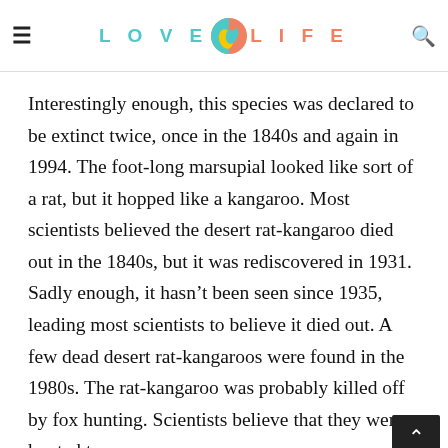LOVE LIFE
Interestingly enough, this species was declared to be extinct twice, once in the 1840s and again in 1994. The foot-long marsupial looked like sort of a rat, but it hopped like a kangaroo. Most scientists believed the desert rat-kangaroo died out in the 1840s, but it was rediscovered in 1931. Sadly enough, it hasn’t been seen since 1935, leading most scientists to believe it died out. A few dead desert rat-kangaroos were found in the 1980s. The rat-kangaroo was probably killed off by fox hunting. Scientists believe that they were hunted to